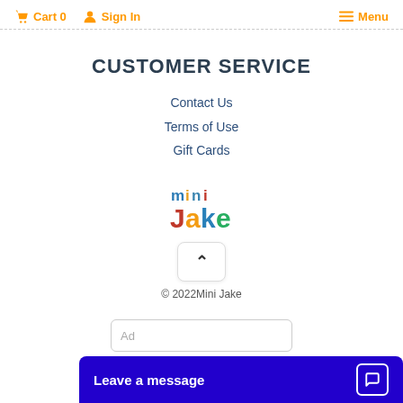Cart 0   Sign In   Menu
CUSTOMER SERVICE
Contact Us
Terms of Use
Gift Cards
[Figure (logo): Mini Jake colorful logo with 'mini' in teal/blue/orange letters and 'Jake' in red bold letters]
© 2022Mini Jake
Leave a message